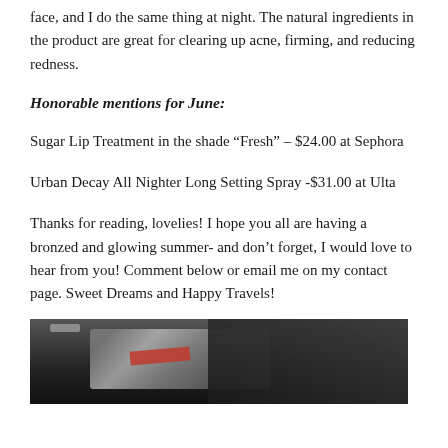face, and I do the same thing at night. The natural ingredients in the product are great for clearing up acne, firming, and reducing redness.
Honorable mentions for June:
Sugar Lip Treatment in the shade “Fresh” – $24.00 at Sephora
Urban Decay All Nighter Long Setting Spray -$31.00 at Ulta
Thanks for reading, lovelies! I hope you all are having a bronzed and glowing summer- and don’t forget, I would love to hear from you! Comment below or email me on my contact page. Sweet Dreams and Happy Travels!
[Figure (photo): Partial photo of a person in a car, dark image showing hair and car interior details]